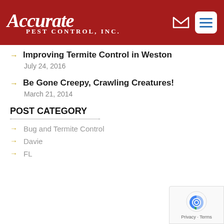[Figure (logo): Accurate Pest Control, Inc. logo on dark red header background with navigation icons]
Improving Termite Control in Weston
July 24, 2016
Be Gone Creepy, Crawling Creatures!
March 21, 2014
POST CATEGORY
Bug and Termite Control
Davie
FL